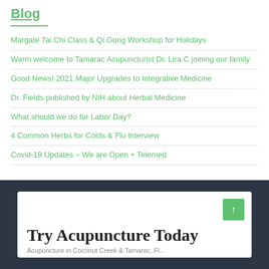Blog
Margate Tai Chi Class & Qi Gong Workshop for Holidays
Warm welcome to Tamarac Acupuncturist Dr. Lira C joining our family
Good News! 2021 Major Upgrades to Integrative Medicine
Dr. Fields published by NIH about Herbal Medicine
What should we do for Labor Day?
4 Common Herbs for Colds & Flu Interview
Covid-19 Updates – We are Open + Telemed
Try Acupuncture Today
Acupuncture in Coconut Creek & Tamarac, Fl...